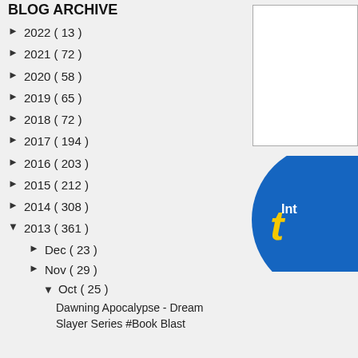BLOG ARCHIVE
► 2022 ( 13 )
► 2021 ( 72 )
► 2020 ( 58 )
► 2019 ( 65 )
► 2018 ( 72 )
► 2017 ( 194 )
► 2016 ( 203 )
► 2015 ( 212 )
► 2014 ( 308 )
▼ 2013 ( 361 )
► Dec ( 23 )
► Nov ( 29 )
▼ Oct ( 25 )
Dawning Apocalypse - Dream Slayer Series #Book Blast
[Figure (other): White advertisement box in upper right]
[Figure (other): Blue circular badge partially visible with text 'Int']
[Figure (other): Tweet button (blue with Twitter bird icon) and Share link with [Get This] widget]
GOOGLE FRIEND